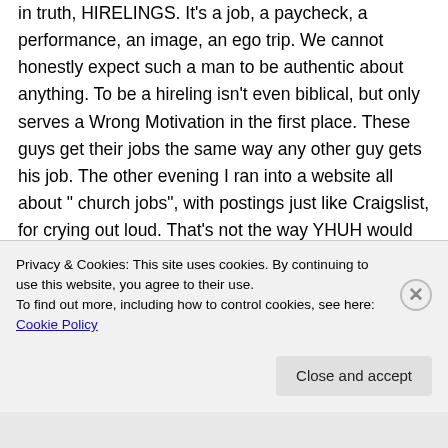in truth, HIRELINGS. It's a job, a paycheck, a performance, an image, an ego trip. We cannot honestly expect such a man to be authentic about anything. To be a hireling isn't even biblical, but only serves a Wrong Motivation in the first place. These guys get their jobs the same way any other guy gets his job. The other evening I ran into a website all about " church jobs", with postings just like Craigslist, for crying out loud. That's not the way YHUH would put a
Privacy & Cookies: This site uses cookies. By continuing to use this website, you agree to their use.
To find out more, including how to control cookies, see here: Cookie Policy
Close and accept